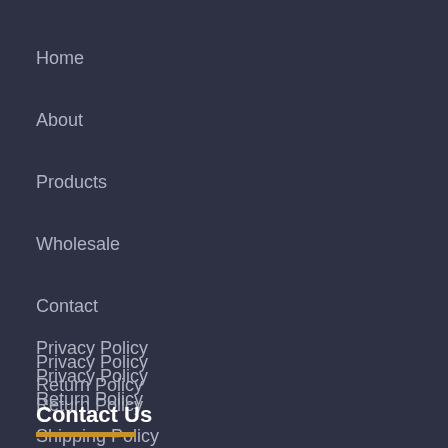Home
About
Products
Wholesale
Contact
Privacy Policy
Return Policy
Shipping Policy
Terms of Service
Contact Us